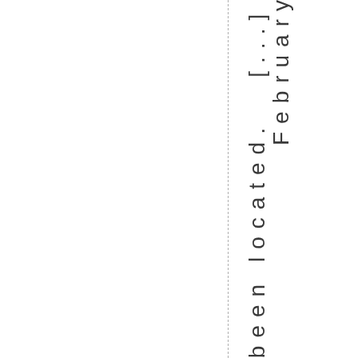m has been located. [...] February